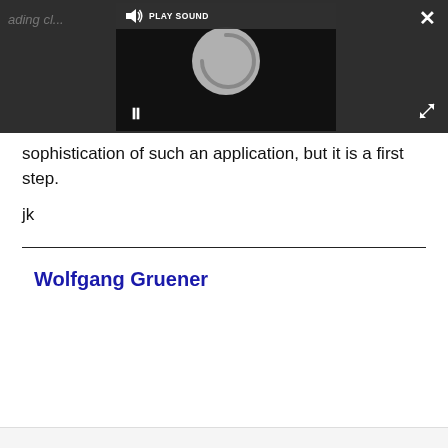[Figure (screenshot): Media player overlay on dark background with 'PLAY SOUND' label, speaker icon, loading spinner circle, pause button, close (X) button top-right, and expand arrows bottom-right.]
sophistication of such an application, but it is a first step.
jk
Wolfgang Gruener